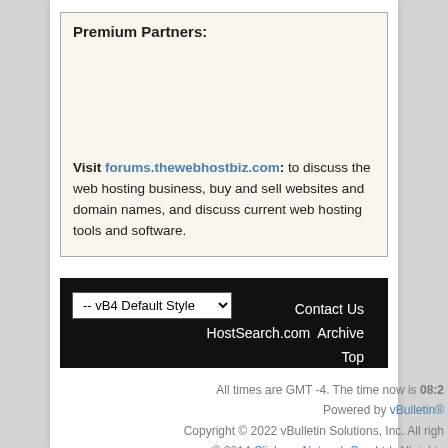Premium Partners:
Visit forums.thewebhostbiz.com: to discuss the web hosting business, buy and sell websites and domain names, and discuss current web hosting tools and software.
-- vB4 Default Style  Contact Us  HostSearch.com  Archive  Top
All times are GMT -4. The time now is 08:2  Powered by vBulletin®  Copyright © 2022 vBulletin Solutions, Inc. All righ  © 2014 Clicksee Network Co., Ltd. All rights